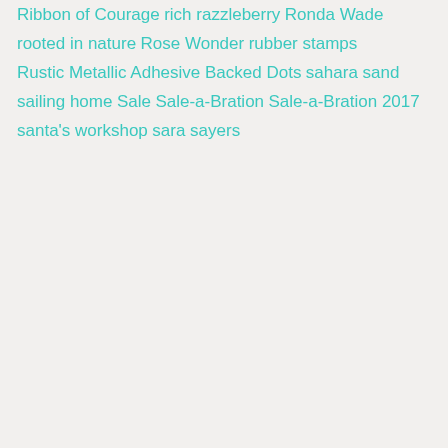Ribbon of Courage
rich razzleberry
Ronda Wade
rooted in nature
Rose Wonder
rubber stamps
Rustic Metallic Adhesive Backed Dots
sahara sand
sailing home
Sale
Sale-a-Bration
Sale-a-Bration 2017
santa's workshop
sara sayers